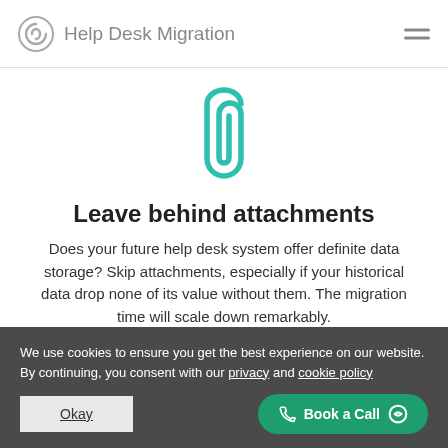Help Desk Migration
[Figure (illustration): Teal/cyan paperclip icon]
Leave behind attachments
Does your future help desk system offer definite data storage? Skip attachments, especially if your historical data drop none of its value without them. The migration time will scale down remarkably.
We use cookies to ensure you get the best experience on our website. By continuing, you consent with our privacy and cookie policy
Okay
Book a Call